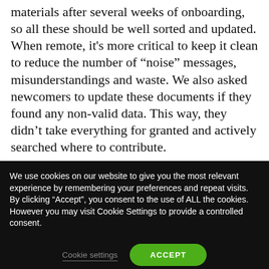materials after several weeks of onboarding, so all these should be well sorted and updated. When remote, it's more critical to keep it clean to reduce the number of "noise" messages, misunderstandings and waste. We also asked newcomers to update these documents if they found any non-valid data. This way, they didn't take everything for granted and actively searched where to contribute.
We use cookies on our website to give you the most relevant experience by remembering your preferences and repeat visits. By clicking "Accept", you consent to the use of ALL the cookies. However you may visit Cookie Settings to provide a controlled consent.
Cookie settings
ACCEPT